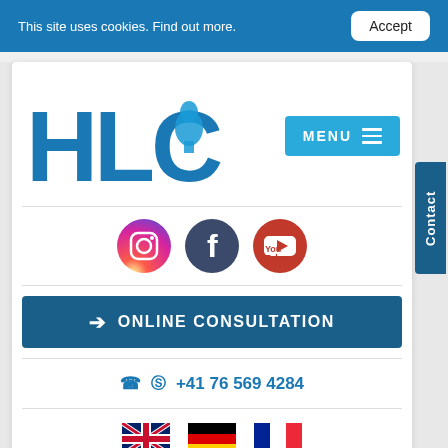This site uses cookies. Find out more.  Accept
[Figure (logo): HLC logo with stylized blue letters H, L, C and a face profile inside the C]
[Figure (infographic): Social media icons: Instagram, Facebook, YouTube]
➔ ONLINE CONSULTATION
📞 © +41 76 569 4284
[Figure (infographic): Language selector flags: UK (English), Germany (German), France (French)]